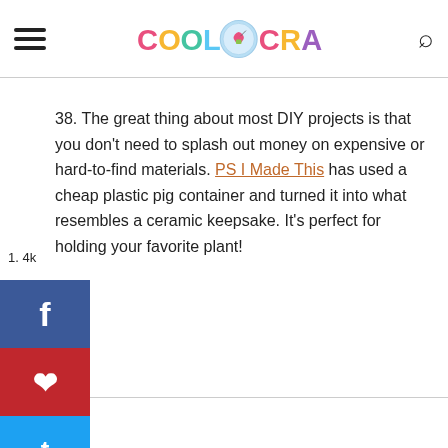Cool Crafts — site header with logo, hamburger menu, and search icon
38. The great thing about most DIY projects is that you don't need to splash out money on expensive or hard-to-find materials. PS I Made This has used a cheap plastic pig container and turned it into what resembles a ceramic keepsake. It's perfect for holding your favorite plant!